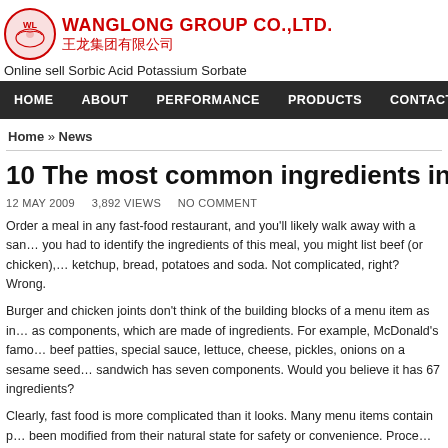[Figure (logo): Wanglong Group Co., Ltd. logo with red dragon emblem, English and Chinese company name in red]
Online sell Sorbic Acid Potassium Sorbate
[Figure (other): Dark navigation bar with menu items: HOME, ABOUT, PERFORMANCE, PRODUCTS, CONTACT]
Home » News
10 The most common ingredients in fast f…
12 MAY 2009   3,892 VIEWS   NO COMMENT
Order a meal in any fast-food restaurant, and you'll likely walk away with a san… you had to identify the ingredients of this meal, you might list beef (or chicken),… ketchup, bread, potatoes and soda. Not complicated, right? Wrong.
Burger and chicken joints don't think of the building blocks of a menu item as in… as components, which are made of ingredients. For example, McDonald's famo… beef patties, special sauce, lettuce, cheese, pickles, onions on a sesame seed… sandwich has seven components. Would you believe it has 67 ingredients?
Clearly, fast food is more complicated than it looks. Many menu items contain p… been modified from their natural state for safety or convenience. Proce…